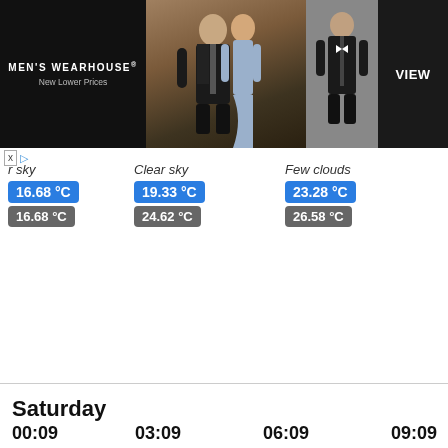[Figure (photo): Men's Wearhouse advertisement banner showing couple in formal wear with 'MEN'S WEARHOUSE New Lower Prices' text and VIEW button]
r sky | Clear sky | Few clouds | Scattered clouds | Lig
16.68 °C | 19.33 °C | 23.28 °C | (Scattered clouds) | 19
16.68 °C | 24.62 °C | 26.58 °C | 25.99 °C | 19
25.99 °C
Saturday
00:09 | 03:09 | 06:09 | 09:09 | 12
[Figure (illustration): Weather icons: cloud (00:09), cloud with wind tool (03:09), cloud (06:09), sun/orange circle (09:09), orange circle partial]
Scattered clouds | Broken clouds | Scattered clouds | Clear sky | Cle
16.52 °C | 16.74 °C | 24.34 °C | 26.65 °C | 26
16.52 °C | 16.74 °C | 24.34 °C | 26.65 °C | 26
Sunday